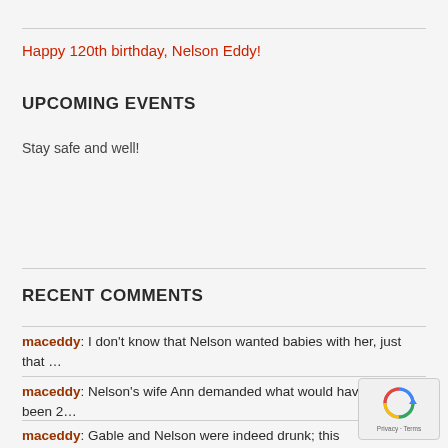Happy 120th birthday, Nelson Eddy!
UPCOMING EVENTS
Stay safe and well!
RECENT COMMENTS
maceddy: I don't know that Nelson wanted babies with her, just that …
maceddy: Nelson's wife Ann demanded what would have basically been 2…
maceddy: Gable and Nelson were indeed drunk; this hap in the MG…